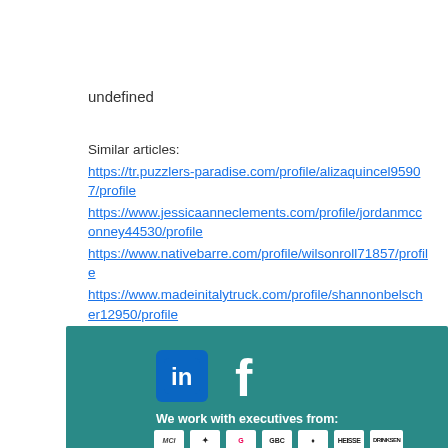undefined
Similar articles:
https://tr.puzzlers-paradise.com/profile/alizaquincel95907/profile
https://www.jessicaanneclements.com/profile/jordanmcconney44530/profile
https://www.nativebarre.com/profile/wilsonroll71857/profile
https://www.madeinitalytruck.com/profile/shannonbelscher12950/profile
[Figure (other): Teal footer bar with LinkedIn and Facebook social media icons, text 'We work with executives from:' and a row of company logos at the bottom]